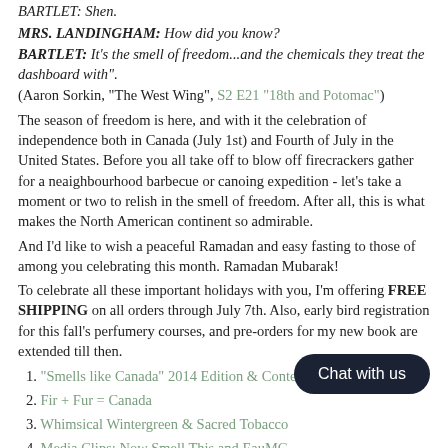BARTLET: Shen.
MRS. LANDINGHAM: How did you know?
BARTLET: It's the smell of freedom...and the chemicals they treat the dashboard with".
(Aaron Sorkin, "The West Wing", S2 E21 "18th and Potomac")
The season of freedom is here, and with it the celebration of independence both in Canada (July 1st) and Fourth of July in the United States. Before you all take off to blow off firecrackers gather for a neaighbourhood barbecue or canoing expedition - let's take a moment or two to relish in the smell of freedom. After all, this is what makes the North American continent so admirable.
And I'd like to wish a peaceful Ramadan and easy fasting to those of among you celebrating this month. Ramadan Mubarak!
To celebrate all these important holidays with you, I'm offering FREE SHIPPING on all orders through July 7th. Also, early bird registration for this fall's perfumery courses, and pre-orders for my new book are extended till then.
1. "Smells like Canada" 2014 Edition & Contest
2. Fir + Fur = Canada
3. Whimsical Wintergreen & Sacred Tobacco
4. Media Clips: Now Smell This and EauMG